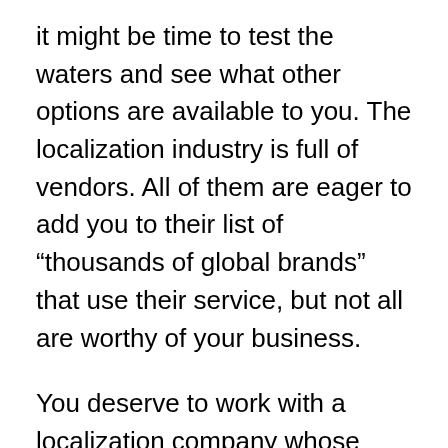it might be time to test the waters and see what other options are available to you. The localization industry is full of vendors. All of them are eager to add you to their list of “thousands of global brands” that use their service, but not all are worthy of your business.
You deserve to work with a localization company whose technology can actually keep up with their marketing claims.
When requesting a quote from a new company, ask about the features they’re most proud of. Learn how they’re using